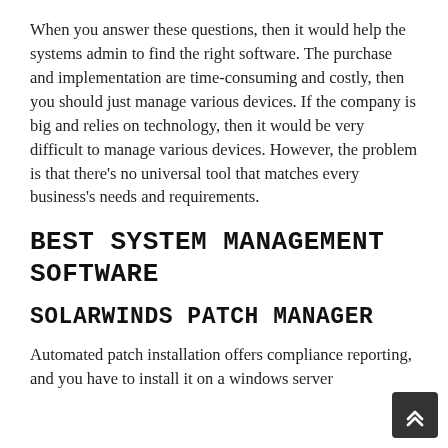When you answer these questions, then it would help the systems admin to find the right software. The purchase and implementation are time-consuming and costly, then you should just manage various devices. If the company is big and relies on technology, then it would be very difficult to manage various devices. However, the problem is that there's no universal tool that matches every business's needs and requirements.
BEST SYSTEM MANAGEMENT SOFTWARE
SOLARWINDS PATCH MANAGER
Automated patch installation offers compliance reporting, and you have to install it on a windows server